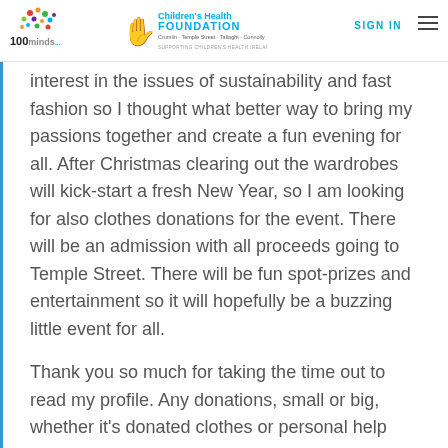100minds | Children's Health Foundation | SIGN IN
interest in the issues of sustainability and fast fashion so I thought what better way to bring my passions together and create a fun evening for all. After Christmas clearing out the wardrobes will kick-start a fresh New Year, so I am looking for also clothes donations for the event. There will be an admission with all proceeds going to Temple Street. There will be fun spot-prizes and entertainment so it will hopefully be a buzzing little event for all.
Thank you so much for taking the time out to read my profile. Any donations, small or big, whether it's donated clothes or personal help you can provide, I would be extremely grateful to you all. I can assure you it will make a massive